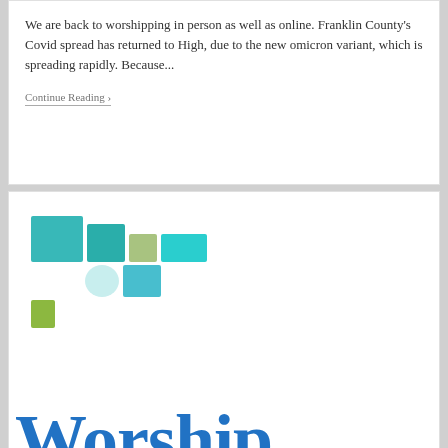We are back to worshipping in person as well as online. Franklin County's Covid spread has returned to High, due to the new omicron variant, which is spreading rapidly. Because...
Continue Reading ›
[Figure (logo): Colorful mosaic squares logo in teal, green, and blue shades]
Worship